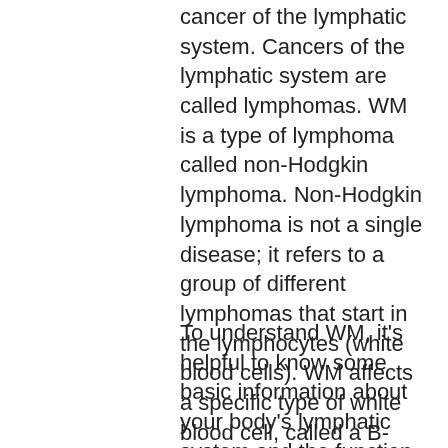cancer of the lymphatic system. Cancers of the lymphatic system are called lymphomas. WM is a type of lymphoma called non-Hodgkin lymphoma. Non-Hodgkin lymphoma is not a single disease; it refers to a group of different lymphomas that start in the lymphocytes (white blood cells). WM affects a specific type of white blood cell, called a B-lymphocyte or B-cell for short.
To understand WM, it's helpful to know some basic information about your body's lymphatic system and the function of lymphoid tissue.